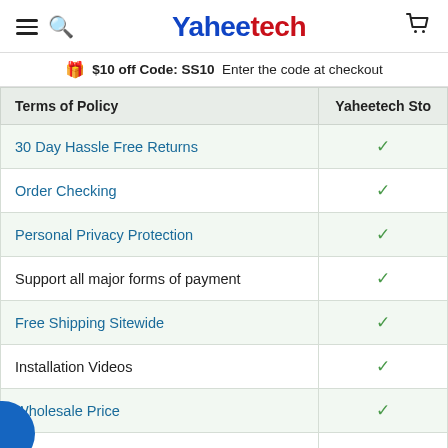Yaheetech — hamburger menu, search, cart icons
$10 off Code: SS10  Enter the code at checkout
| Terms of Policy | Yaheetech Sto |
| --- | --- |
| 30 Day Hassle Free Returns | ✓ |
| Order Checking | ✓ |
| Personal Privacy Protection | ✓ |
| Support all major forms of payment | ✓ |
| Free Shipping Sitewide | ✓ |
| Installation Videos | ✓ |
| Wholesale Price | ✓ |
| Online Customer Support | ✓ |
| Buying Guide | ✓ |